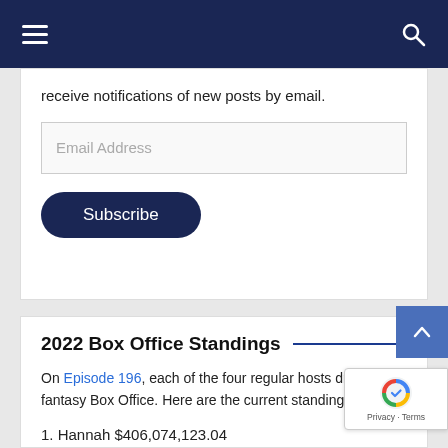Navigation bar with hamburger menu and search icon
receive notifications of new posts by email.
Email Address
Subscribe
2022 Box Office Standings
On Episode 196, each of the four regular hosts drafted a fantasy Box Office. Here are the current standings:
1. Hannah $406,074,123.04
2. Wayne $312,981,679.83
3. Mav $196,718,386.33